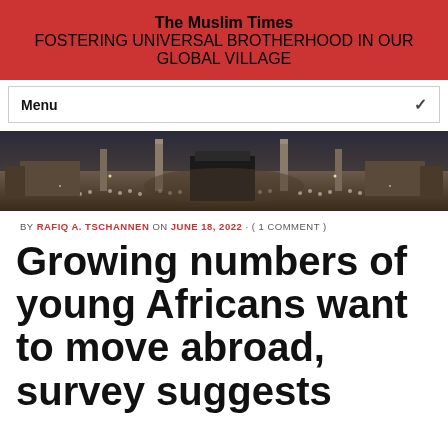The Muslim Times
FOSTERING UNIVERSAL BROTHERHOOD IN OUR GLOBAL VILLAGE
Menu
[Figure (photo): Aerial panoramic view of Masjid al-Haram in Mecca with large crowds of pilgrims surrounding the Kaaba]
BY RAFIQ A. TSCHANNEN ON JUNE 18, 2022 · ( 1 COMMENT )
Growing numbers of young Africans want to move abroad, survey suggests